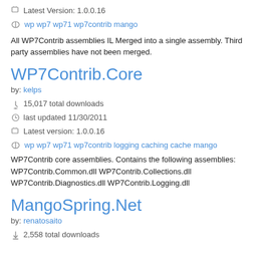Latest Version: 1.0.0.16
wp wp7 wp71 wp7contrib mango
All WP7Contrib assemblies IL Merged into a single assembly. Third party assemblies have not been merged.
WP7Contrib.Core
by: kelps
15,017 total downloads
last updated 11/30/2011
Latest version: 1.0.0.16
wp wp7 wp71 wp7contrib logging caching cache mango
WP7Contrib core assemblies. Contains the following assemblies: WP7Contrib.Common.dll WP7Contrib.Collections.dll WP7Contrib.Diagnostics.dll WP7Contrib.Logging.dll
MangoSpring.Net
by: renatosaito
2,558 total downloads